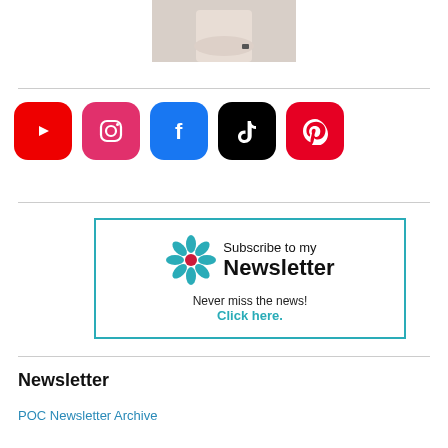[Figure (photo): Partial photo of a person with arms crossed, wearing a white top, sitting at a desk]
[Figure (infographic): Row of 5 social media icon buttons: YouTube (red), Instagram (pink), Facebook (blue), TikTok (black), Pinterest (red)]
[Figure (infographic): Newsletter subscription box with teal flower logo, text 'Subscribe to my Newsletter', 'Never miss the news!', and 'Click here.' in teal]
Newsletter
POC Newsletter Archive